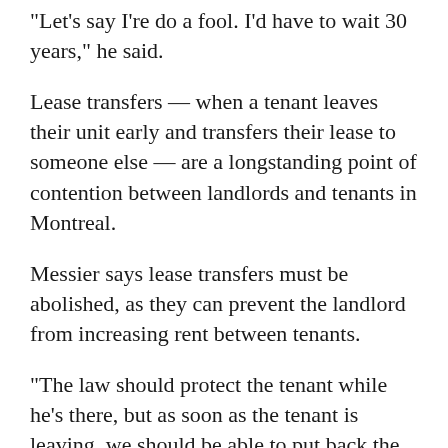“Let’s say I’re do a fool. I’d have to wait 30 years,” he said.
Lease transfers — when a tenant leaves their unit early and transfers their lease to someone else — are a longstanding point of contention between landlords and tenants in Montreal.
Messier says lease transfers must be abolished, as they can prevent the landlord from increasing rent between tenants.
“The law should protect the tenant while he’s there, but as soon as the tenant is leaving, we should be able to put back the rent to market value. We should be able to negotiate with the tenant the price of the rent, without possibility of contestation.”